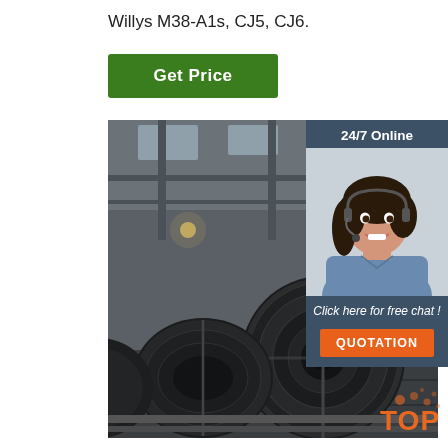Willys M38-A1s, CJ5, CJ6.
[Figure (other): Green 'Get Price' button]
[Figure (photo): Industrial warehouse with large steel coils stacked on the floor]
[Figure (other): 24/7 Online customer service panel with agent photo, 'Click here for free chat!' text, and orange QUOTATION button]
[Figure (other): Orange and white TOP badge in bottom right corner]